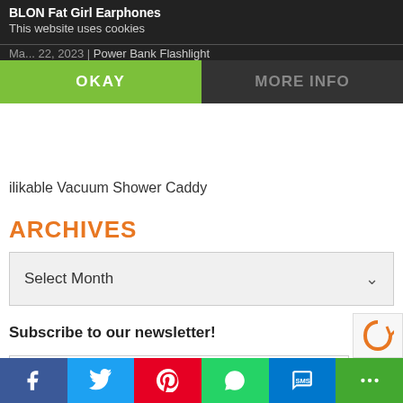BLON Fat Girl Earphones
This website uses cookies
Power Bank Flashlight
OKAY
MORE INFO
ilikable Vacuum Shower Caddy
ARCHIVES
Select Month
Subscribe to our newsletter!
Email
[Figure (screenshot): Social sharing bar with Facebook, Twitter, Pinterest, WhatsApp, SMS, and More buttons]